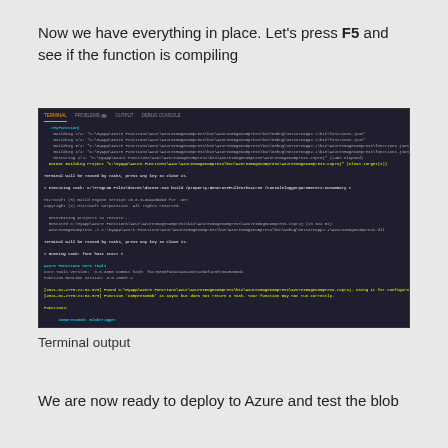Now we have everything in place. Let's press F5 and see if the function is compiling
[Figure (screenshot): Terminal output from VS Code showing Azure Functions build and run process, with colored output including cyan function names, yellow warnings, and green/white informational messages]
Terminal output
We are now ready to deploy to Azure and test the blob